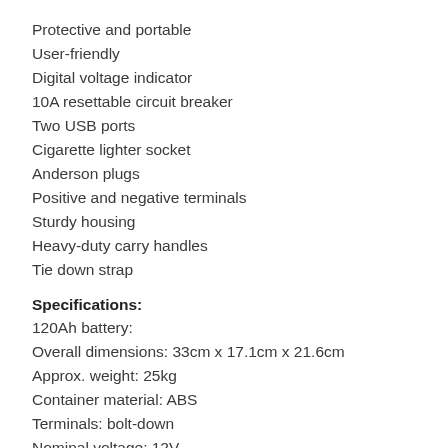Protective and portable
User-friendly
Digital voltage indicator
10A resettable circuit breaker
Two USB ports
Cigarette lighter socket
Anderson plugs
Positive and negative terminals
Sturdy housing
Heavy-duty carry handles
Tie down strap
Specifications:
120Ah battery:
Overall dimensions: 33cm x 17.1cm x 21.6cm
Approx. weight: 25kg
Container material: ABS
Terminals: bolt-down
Nominal voltage: 12V
Rated capacity (10-hour rate): 120Ah